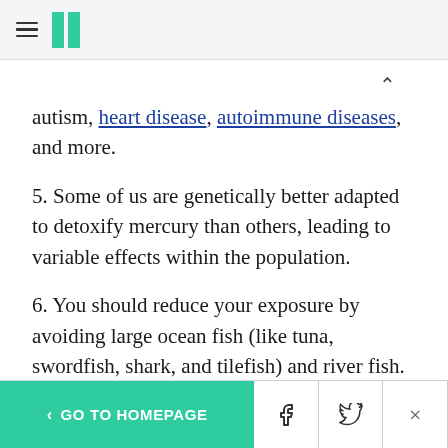[HuffPost logo and hamburger menu]
autism, heart disease, autoimmune diseases, and more.
5. Some of us are genetically better adapted to detoxify mercury than others, leading to variable effects within the population.
6. You should reduce your exposure by avoiding large ocean fish (like tuna, swordfish, shark, and tilefish) and river fish. Eat only small wild fish. If it
< GO TO HOMEPAGE  [Facebook] [Twitter] [X]